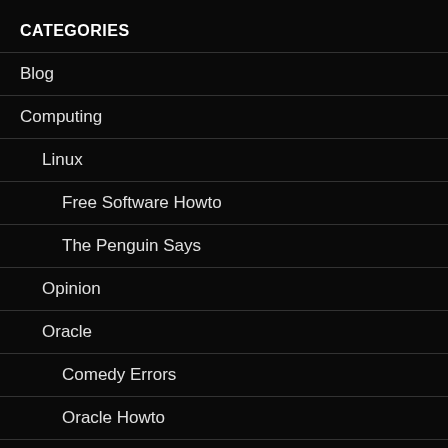CATEGORIES
Blog
Computing
Linux
Free Software Howto
The Penguin Says
Opinion
Oracle
Comedy Errors
Oracle Howto
PL/SQL
Programming